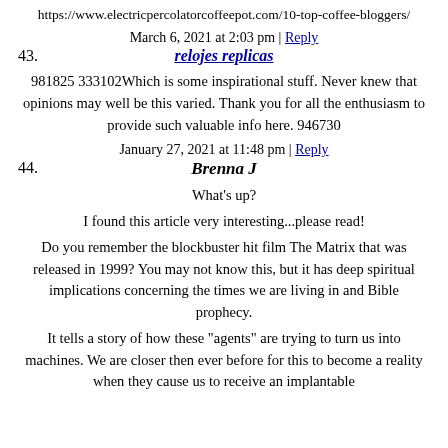https://www.electricpercolatorcoffeepot.com/10-top-coffee-bloggers/
March 6, 2021 at 2:03 pm | Reply
43. relojes replicas
981825 333102Which is some inspirational stuff. Never knew that opinions may well be this varied. Thank you for all the enthusiasm to provide such valuable info here. 946730
January 27, 2021 at 11:48 pm | Reply
44. Brenna J
What's up?
I found this article very interesting...please read!
Do you remember the blockbuster hit film The Matrix that was released in 1999? You may not know this, but it has deep spiritual implications concerning the times we are living in and Bible prophecy.
It tells a story of how these "agents" are trying to turn us into machines. We are closer then ever before for this to become a reality when they cause us to receive an implantable